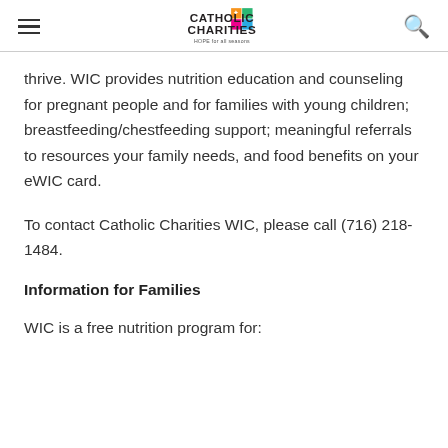Catholic Charities — HOPE for all seasons
thrive. WIC provides nutrition education and counseling for pregnant people and for families with young children; breastfeeding/chestfeeding support; meaningful referrals to resources your family needs, and food benefits on your eWIC card.
To contact Catholic Charities WIC, please call (716) 218-1484.
Information for Families
WIC is a free nutrition program for: